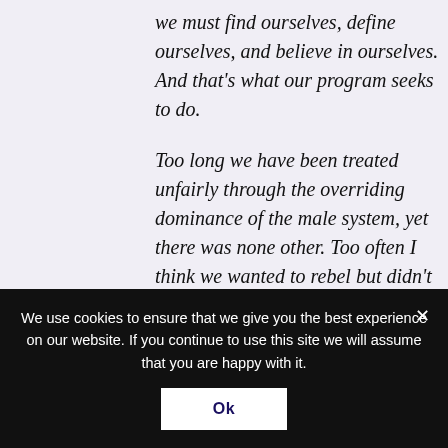we must find ourselves, define ourselves, and believe in ourselves.  And that's what our program seeks to do.
Too long we have been treated unfairly through the overriding dominance of the male system, yet there was none other.  Too often I think we wanted to rebel but didn't put anything in the place of the rebellion.
We cannot rise up against something unless we have something better to offer and I believe that can only happen when we change ourselves from dependent persons to
We use cookies to ensure that we give you the best experience on our website. If you continue to use this site we will assume that you are happy with it.